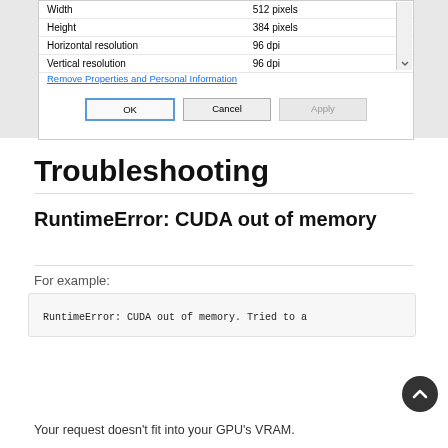[Figure (screenshot): Windows file properties dialog showing Height=384 pixels, Horizontal resolution=96 dpi, Vertical resolution=96 dpi, with a link 'Remove Properties and Personal Information', and OK, Cancel, Apply buttons.]
Troubleshooting
RuntimeError: CUDA out of memory
For example:
RuntimeError: CUDA out of memory. Tried to a
Your request doesn't fit into your GPU's VRAM.